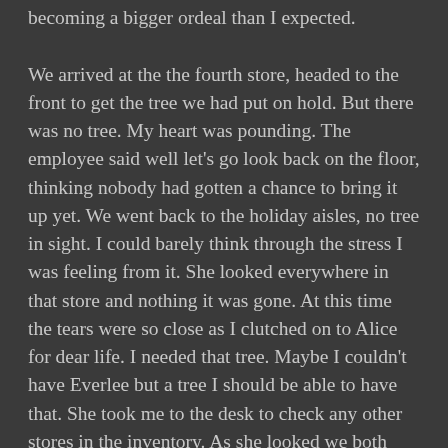becoming a bigger ordeal than I expected. We arrived at the the fourth store, headed to the front to get the tree we had put on hold. But there was no tree. My heart was pounding. The employee said well let's go look back on the floor, thinking nobody had gotten a chance to bring it up yet. We went back to the holiday aisles, no tree in sight. I could barely think through the stress I was feeling from it. She looked everywhere in that store and nothing it was gone. At this time the tears were so close as I clutched on to Alice for dear life. I needed that tree. Maybe I couldn't have Everlee but a tree I should be able to have that. She took me to the desk to check any other stores in the inventory. As she looked we both realized the particular white tree I was looking for was literally gone from every single target in Minnesota. All sold out everywhere. There